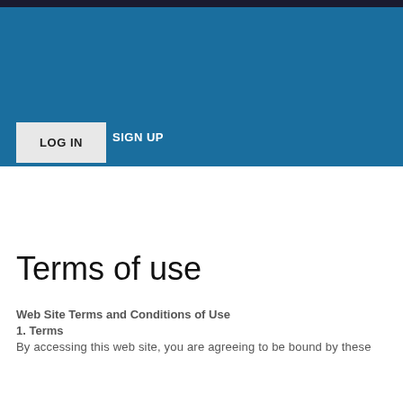[Figure (screenshot): Dark blue header with LOG IN button and SIGN UP link]
Please select your page
Terms of use
Web Site Terms and Conditions of Use
1. Terms
By accessing this web site, you are agreeing to be bound by these